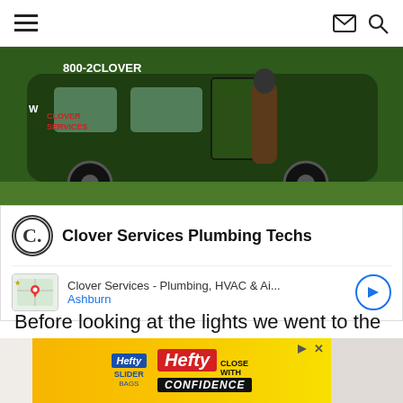Navigation header with hamburger menu, mail icon, search icon
[Figure (photo): Clover Services branded green van with technician, showing phone number 800-2CLOVER]
Clover Services Plumbing Techs
Clover Services - Plumbing, HVAC & Ai... Ashburn
Before looking at the lights we went to the coolest vending machine in the world (in my opinion).  I had seen some friends post about it so I wanted to check it out.
[Figure (photo): Hefty Slider bags advertisement banner - Close With Confidence]